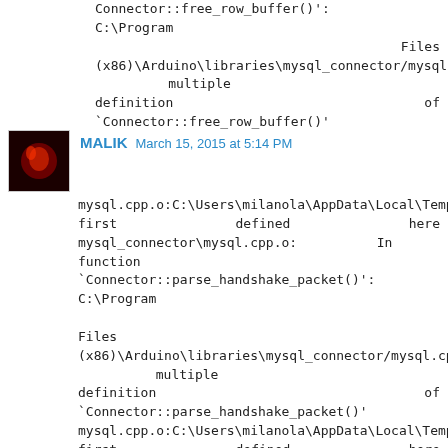Connector::free_row_buffer()': C:\Program Files (x86)\Arduino\libraries\mysql_connector/mysql.cpp:328: multiple definition of `Connector::free_row_buffer()'
MALIK  March 15, 2015 at 5:14 PM
mysql.cpp.o:C:\Users\milanola\AppData\Local\Temp\build5859618431298751533.tmp/mysql.cpp:328: first defined here mysql_connector\mysql.cpp.o: In function `Connector::parse_handshake_packet()': C:\Program Files (x86)\Arduino\libraries\mysql_connector/mysql.cpp:675: multiple definition of `Connector::parse_handshake_packet()' mysql.cpp.o:C:\Users\milanola\AppData\Local\Temp\build5859618431298751533.tmp/mysql.cpp:675: first defined here mysql_connector\mysql.cpp.o: In function `Connector::check_ok_packet()':